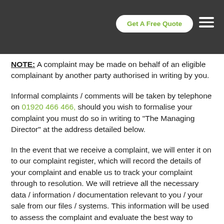Get A Free Quote [navigation header]
NOTE: A complaint may be made on behalf of an eligible complainant by another party authorised in writing by you.
Informal complaints / comments will be taken by telephone on 01920 466 466, should you wish to formalise your complaint you must do so in writing to “The Managing Director” at the address detailed below.
In the event that we receive a complaint, we will enter it on to our complaint register, which will record the details of your complaint and enable us to track your complaint through to resolution. We will retrieve all the necessary data / information / documentation relevant to you / your sale from our files / systems. This information will be used to assess the complaint and evaluate the best way to resolve your specific issue(s). We will endeavour to respond to and resolve your complaint within ten working days from the date that we receive your written complaint. However, we may need to carry out further internal investigations. If these are required, we will send